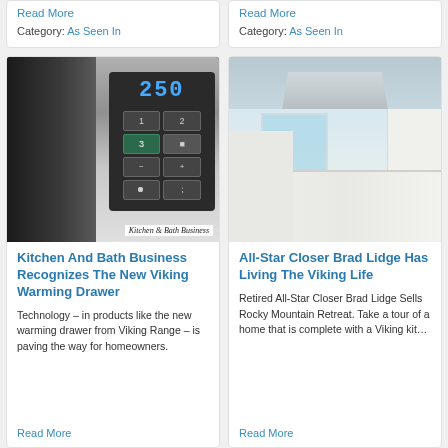Read More
Category: As Seen In
Read More
Category: As Seen In
[Figure (photo): Close-up of a Viking warming drawer control panel with blue LED display showing 250 and numbered buttons 1, 2, 3. Watermark: Kitchen & Bath Business]
Kitchen And Bath Business Recognizes The New Viking Warming Drawer
Technology – in products like the new warming drawer from Viking Range – is paving the way for homeowners.
Read More
[Figure (photo): Bright white kitchen with a large stainless steel hood vent above a kitchen island with dark gas cooktop, white cabinetry, and hardwood floors.]
All-Star Closer Brad Lidge Has Living The Viking Life
Retired All-Star Closer Brad Lidge Sells Rocky Mountain Retreat. Take a tour of a home that is complete with a Viking kit…
Read More